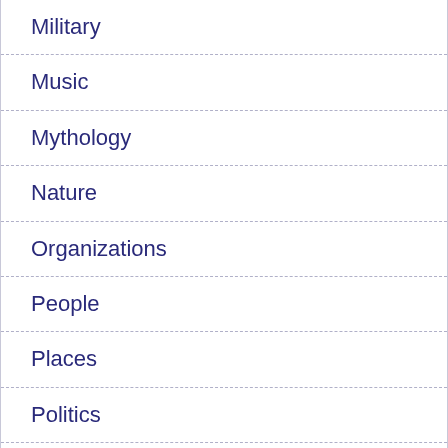Military
Music
Mythology
Nature
Organizations
People
Places
Politics
Religion
Rivers
Science